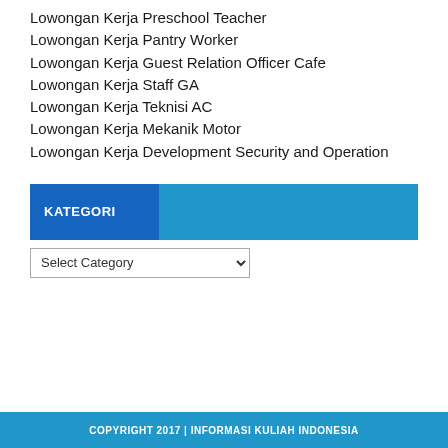Lowongan Kerja Preschool Teacher
Lowongan Kerja Pantry Worker
Lowongan Kerja Guest Relation Officer Cafe
Lowongan Kerja Staff GA
Lowongan Kerja Teknisi AC
Lowongan Kerja Mekanik Motor
Lowongan Kerja Development Security and Operation
KATEGORI
Select Category
COPYRIGHT 2017 | INFORMASI KULIAH INDONESIA